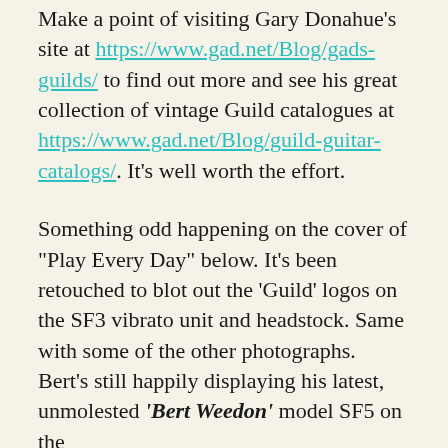Make a point of visiting Gary Donahue's site at https://www.gad.net/Blog/gads-guilds/ to find out more and see his great collection of vintage Guild catalogues at https://www.gad.net/Blog/guild-guitar-catalogs/. It's well worth the effort.
Something odd happening on the cover of "Play Every Day" below. It's been retouched to blot out the 'Guild' logos on the SF3 vibrato unit and headstock. Same with some of the other photographs. Bert's still happily displaying his latest, unmolested 'Bert Weedon' model SF5 on the